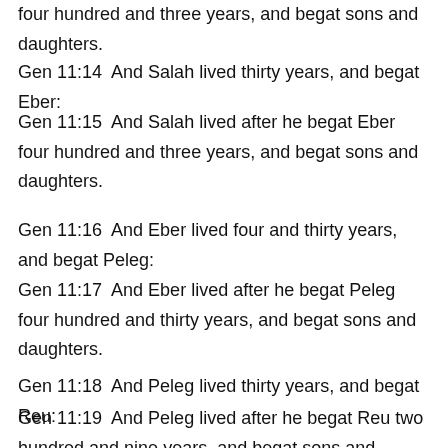four hundred and three years, and begat sons and daughters.
Gen 11:14  And Salah lived thirty years, and begat Eber:
Gen 11:15  And Salah lived after he begat Eber four hundred and three years, and begat sons and daughters.
Gen 11:16  And Eber lived four and thirty years, and begat Peleg:
Gen 11:17  And Eber lived after he begat Peleg four hundred and thirty years, and begat sons and daughters.
Gen 11:18  And Peleg lived thirty years, and begat Reu:
Gen 11:19  And Peleg lived after he begat Reu two hundred and nine years, and begat sons and daughters.
Gen 11:20  And Reu lived two and thirty...